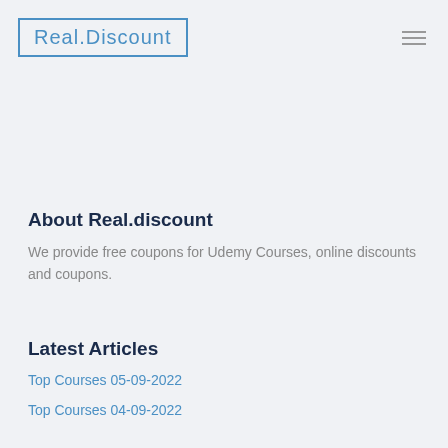Real.Discount
About Real.discount
We provide free coupons for Udemy Courses, online discounts and coupons.
Latest Articles
Top Courses 05-09-2022
Top Courses 04-09-2022